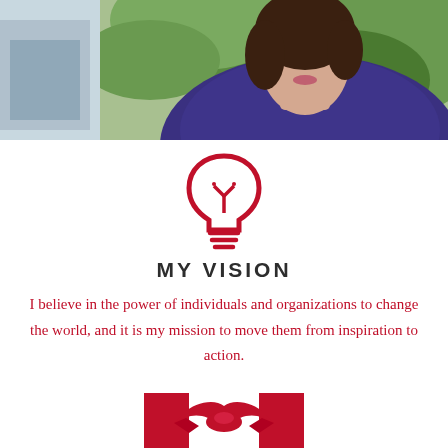[Figure (photo): Partial photo of a woman with dark hair wearing a navy/purple top, standing outdoors in front of green foliage. A second smaller image is partially visible on the left edge.]
[Figure (illustration): Red outline lightbulb icon with three horizontal lines at the base representing glow/base of the bulb]
MY VISION
I believe in the power of individuals and organizations to change the world, and it is my mission to move them from inspiration to action.
[Figure (illustration): Partial red handshake / partnership icon visible at bottom center, showing two hands clasping with red blocks behind]